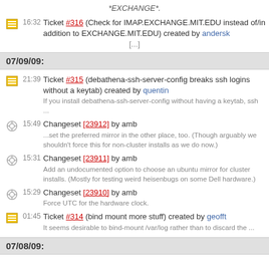*EXCHANGE*.
16:32 Ticket #316 (Check for IMAP.EXCHANGE.MIT.EDU instead of/in addition to EXCHANGE.MIT.EDU) created by andersk
[...]
07/09/09:
21:39 Ticket #315 (debathena-ssh-server-config breaks ssh logins without a keytab) created by quentin
If you install debathena-ssh-server-config without having a keytab, ssh ...
15:49 Changeset [23912] by amb
...set the preferred mirror in the other place, too. (Though arguably we shouldn't force this for non-cluster installs as we do now.)
15:31 Changeset [23911] by amb
Add an undocumented option to choose an ubuntu mirror for cluster installs. (Mostly for testing weird heisenbugs on some Dell hardware.)
15:29 Changeset [23910] by amb
Force UTC for the hardware clock.
01:45 Ticket #314 (bind mount more stuff) created by geofft
It seems desirable to bind-mount /var/log rather than to discard the ...
07/08/09: